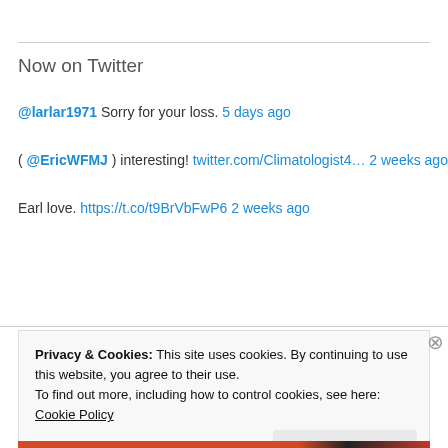Now on Twitter
@larlar1971 Sorry for your loss. 5 days ago
( @EricWFMJ ) interesting! twitter.com/Climatologist4... 2 weeks ago
Earl love. https://t.co/t9BrVbFwP6 2 weeks ago
[Figure (other): Follow @ahrcanum Twitter button]
Privacy & Cookies: This site uses cookies. By continuing to use this website, you agree to their use. To find out more, including how to control cookies, see here: Cookie Policy